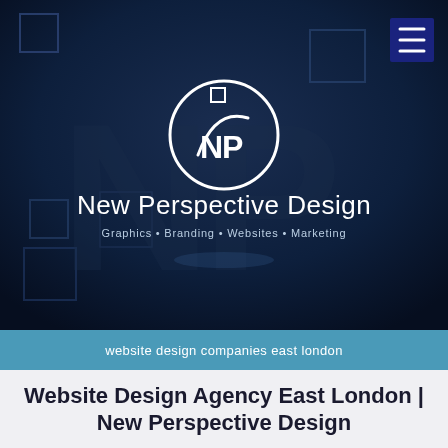[Figure (logo): New Perspective Design logo — white circular emblem with NP monogram, company name 'New Perspective Design' and tagline 'Graphics • Branding • Websites • Marketing' on dark navy blue background with decorative geometric square shapes]
website design companies east london
Website Design Agency East London | New Perspective Design